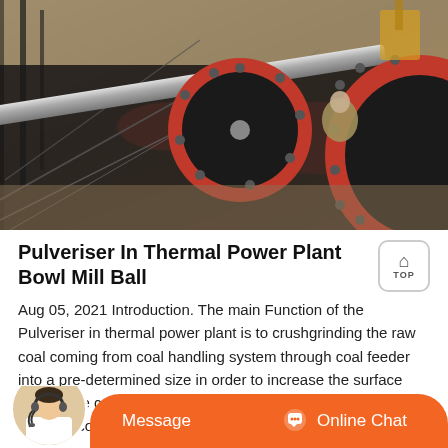[Figure (photo): Industrial ball mill / pulveriser machinery at a thermal power plant, showing large red circular gear flanges, a diagonal metal pipe, workers, and scaffolding in an outdoor construction site.]
Pulveriser In Thermal Power Plant Bowl Mill Ball
Aug 05, 2021 Introduction. The main Function of the Pulveriser in thermal power plant is to crushgrinding the raw coal coming from coal handling system through coal feeder into a pre-determined size in order to increase the surface area of the coal.. If the coal is not pulverised, the coal might not burn completely, thus resulting in wastage of fuel.